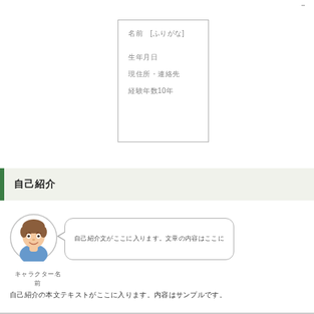[Figure (other): Small mark or label in top-right corner of the page]
| 名前　[ふりがな] |
| 生年月日 |
| 現住所・連絡先 |
| 経験年数10年 |
自己紹介
[Figure (illustration): Cartoon avatar of a young man with brown hair wearing a blue shirt, shown in a circular frame]
自己紹介文がここに入ります。文章の内容はここに
キャラクター名前
自己紹介の本文テキストがここに入ります。内容はサンプルです。